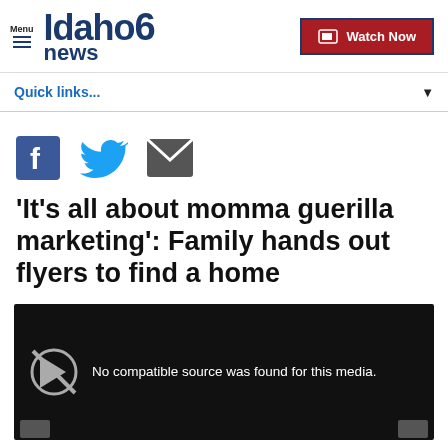Idaho News 6 — Menu | Watch Now
Quick links...
[Figure (screenshot): Social share icons: Facebook (blue F), Twitter (blue bird), Email (grey envelope)]
'It's all about momma guerilla marketing': Family hands out flyers to find a home
[Figure (screenshot): Video player showing: No compatible source was found for this media.]